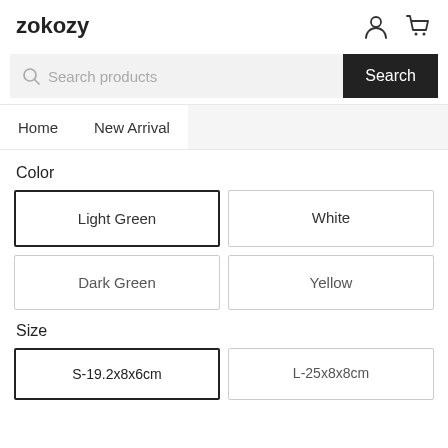zokozy
Color
Light Green
White
Dark Green
Yellow
Size
S-19.2x8x6cm
L-25x8x8cm